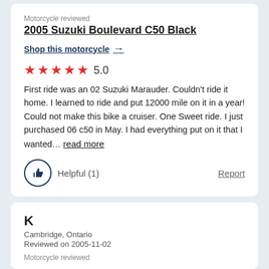Motorcycle reviewed
2005 Suzuki Boulevard C50 Black
Shop this motorcycle →
[Figure (other): Five red star rating icons followed by the number 5.0]
First ride was an 02 Suzuki Marauder. Couldn't ride it home. I learned to ride and put 12000 mile on it in a year! Could not make this bike a cruiser. One Sweet ride. I just purchased 06 c50 in May. I had everything put on it that I wanted… read more
Helpful (1)
Report
K
Cambridge, Ontario
Reviewed on 2005-11-02
Motorcycle reviewed